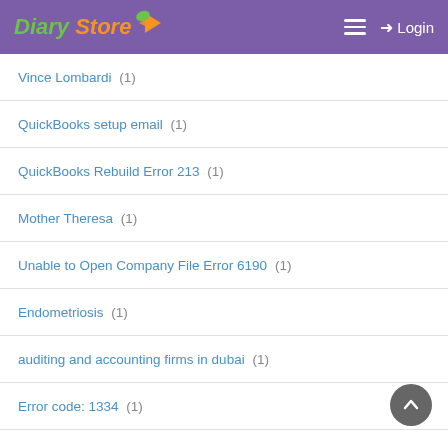Diary Store — Login
Vince Lombardi (1)
QuickBooks setup email (1)
QuickBooks Rebuild Error 213 (1)
Mother Theresa (1)
Unable to Open Company File Error 6190 (1)
Endometriosis (1)
auditing and accounting firms in dubai (1)
Error code: 1334 (1)
QBpremier (1)
best handyman dubai (1)
#quickbooks efilling (2)
Error 1642 while installing QuickBooks (1)